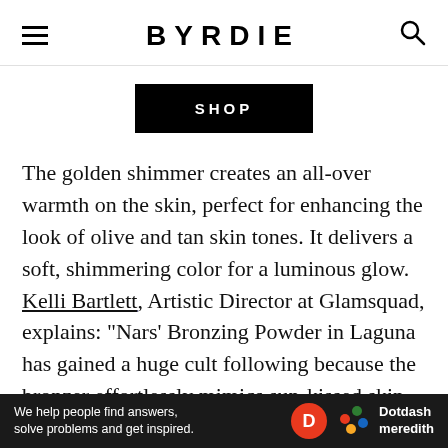BYRDIE
SHOP
The golden shimmer creates an all-over warmth on the skin, perfect for enhancing the look of olive and tan skin tones. It delivers a soft, shimmering color for a luminous glow. Kelli Bartlett, Artistic Director at Glamsquad, explains: "Nars' Bronzing Powder in Laguna has gained a huge cult following because the bronzer effortlessly mimics sun-kissed skin. It's more intense than a bronzer I'd recommend for paler
We help people find answers, solve problems and get inspired. Dotdash meredith